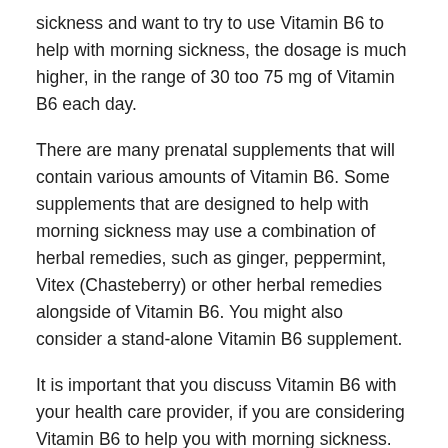sickness and want to try to use Vitamin B6 to help with morning sickness, the dosage is much higher, in the range of 30 too 75 mg of Vitamin B6 each day.
There are many prenatal supplements that will contain various amounts of Vitamin B6. Some supplements that are designed to help with morning sickness may use a combination of herbal remedies, such as ginger, peppermint, Vitex (Chasteberry) or other herbal remedies alongside of Vitamin B6. You might also consider a stand-alone Vitamin B6 supplement.
It is important that you discuss Vitamin B6 with your health care provider, if you are considering Vitamin B6 to help you with morning sickness. There is some research that suggests that too much Vitamin B6 may cause certain problems, such as nerve damage. The amounts of Vitamin B6 you would have to consume to have this happen are relatively high, and it is unlikely that a supplement would contain that much Vitamin B6. Still, you should definitely speak with your health care